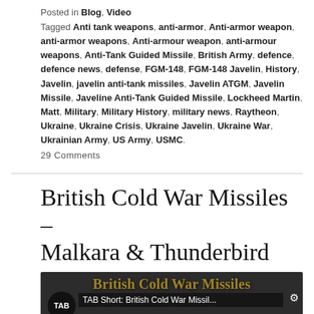Posted in Blog, Video
Tagged Anti tank weapons, anti-armor, Anti-armor weapon, anti-armor weapons, Anti-armour weapon, anti-armour weapons, Anti-Tank Guided Missile, British Army, defence, defence news, defense, FGM-148, FGM-148 Javelin, History, Javelin, javelin anti-tank missiles, Javelin ATGM, Javelin Missile, Javeline Anti-Tank Guided Missile, Lockheed Martin, Matt, Military, Military History, military news, Raytheon, Ukraine, Ukraine Crisis, Ukraine Javelin, Ukraine War, Ukrainian Army, US Army, USMC.
29 Comments
British Cold War Missiles – Malkara & Thunderbird
[Figure (screenshot): YouTube video thumbnail showing TAB Short: British Cold War Missiles... with missiles in black and white background and a play button]